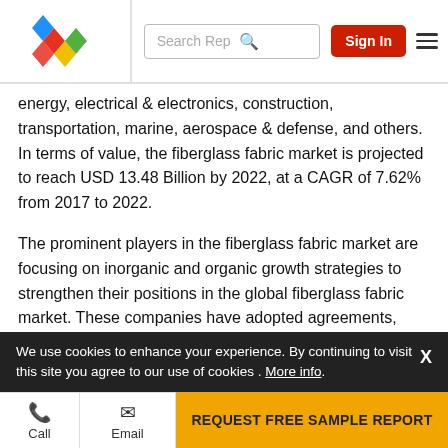Search Rep | Sign In
energy, electrical & electronics, construction, transportation, marine, aerospace & defense, and others. In terms of value, the fiberglass fabric market is projected to reach USD 13.48 Billion by 2022, at a CAGR of 7.62% from 2017 to 2022.
The prominent players in the fiberglass fabric market are focusing on inorganic and organic growth strategies to strengthen their positions in the global fiberglass fabric market. These companies have adopted agreements, expansions & investments, acquisitions, and new product developments as key growth strategies between 2013 and 2017.
In this space, Owens Corning is an established
We use cookies to enhance your experience. By continuing to visit this site you agree to our use of cookies . More info.
REQUEST FREE SAMPLE REPORT